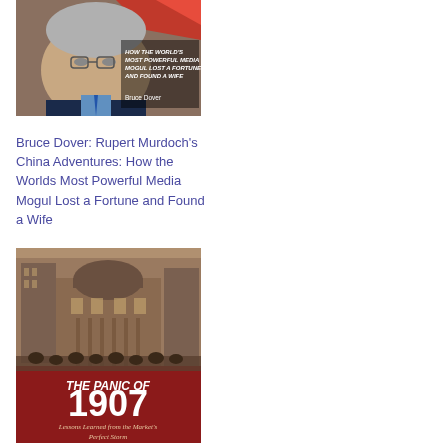[Figure (photo): Book cover: Rupert Murdoch's China Adventures - How the World's Most Powerful Media Mogul Lost a Fortune and Found a Wife, by Bruce Dover. Shows photo of Rupert Murdoch's face.]
Bruce Dover: Rupert Murdoch's China Adventures: How the Worlds Most Powerful Media Mogul Lost a Fortune and Found a Wife
[Figure (photo): Book cover: The Panic of 1907 - Lessons Learned from the Market's Perfect Storm. Shows sepia-toned image of a grand building with crowds.]